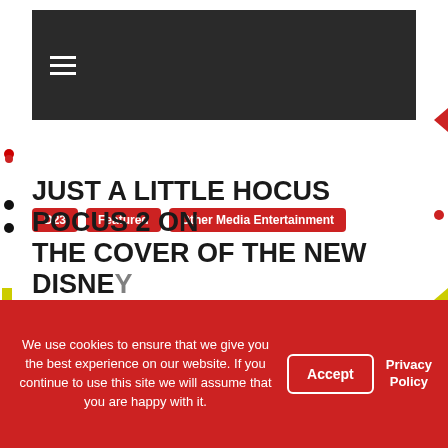☰ (hamburger menu icon)
D23   Featured   Other Media Entertainment
JUST A LITTLE HOCUS POCUS 2 ON THE COVER OF THE NEW DISNEY
We use cookies to ensure that we give you the best experience on our website. If you continue to use this site we will assume that you are happy with it.
Accept
Privacy Policy